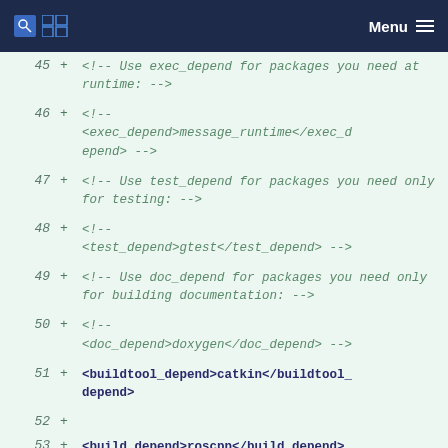Menu
[Figure (screenshot): Code diff view showing XML package.xml lines 45-53 with added lines (marked with +) containing XML comments about exec_depend, test_depend, doc_depend, and actual buildtool_depend and build_depend tags]
45  +  <!-- Use exec_depend for packages you need at runtime: -->
46  +  <!-- <exec_depend>message_runtime</exec_depend> -->
47  +  <!-- Use test_depend for packages you need only for testing: -->
48  +  <!-- <test_depend>gtest</test_depend> -->
49  +  <!-- Use doc_depend for packages you need only for building documentation: -->
50  +  <!-- <doc_depend>doxygen</doc_depend> -->
51  +  <buildtool_depend>catkin</buildtool_depend>
52  +
53  +  <build_depend>roscpp</build_depend>